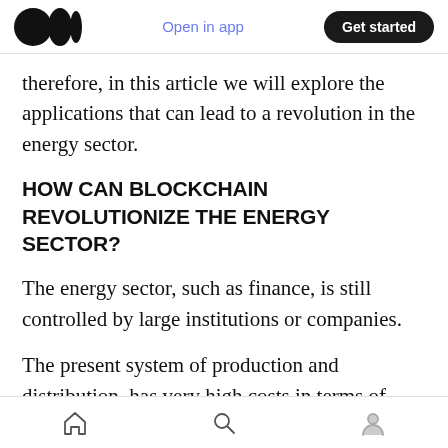Open in app | Get started
therefore, in this article we will explore the applications that can lead to a revolution in the energy sector.
HOW CAN BLOCKCHAIN REVOLUTIONIZE THE ENERGY SECTOR?
The energy sector, such as finance, is still controlled by large institutions or companies.
The present system of production and distribution, has very high costs in terms of energy dissipation and maintenance and in case of
home | search | profile